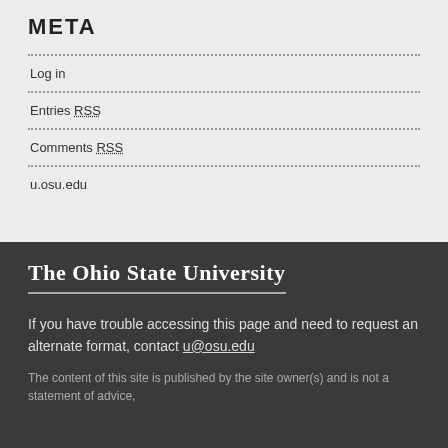META
Log in
Entries RSS
Comments RSS
u.osu.edu
The Ohio State University
If you have trouble accessing this page and need to request an alternate format, contact u@osu.edu
The content of this site is published by the site owner(s) and is not a statement of advice,